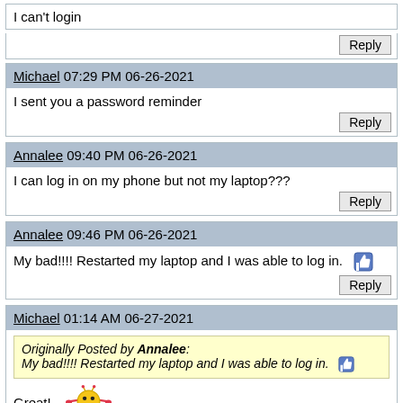I can't login
Reply
Michael 07:29 PM 06-26-2021
I sent you a password reminder
Reply
Annalee 09:40 PM 06-26-2021
I can log in on my phone but not my laptop???
Reply
Annalee 09:46 PM 06-26-2021
My bad!!!! Restarted my laptop and I was able to log in.
Reply
Michael 01:14 AM 06-27-2021
Originally Posted by Annalee: My bad!!!! Restarted my laptop and I was able to log in.
Great!
Reply